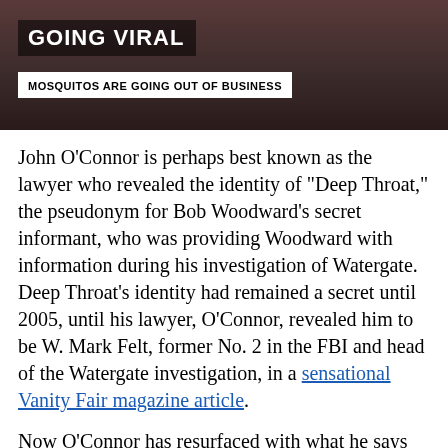[Figure (screenshot): Video screenshot showing a person in a dark red/maroon shirt with overlay text 'GOING VIRAL' and a white banner reading 'MOSQUITOS ARE GOING OUT OF BUSINESS']
John O'Connor is perhaps best known as the lawyer who revealed the identity of "Deep Throat," the pseudonym for Bob Woodward's secret informant, who was providing Woodward with information during his investigation of Watergate.  Deep Throat's identity had remained a secret until 2005, until his lawyer, O'Connor, revealed him to be W. Mark Felt, former No. 2 in the FBI and head of the Watergate investigation, in a sensational Vanity Fair magazine article.
Now O'Connor has resurfaced with what he says are answers to all the other lingering Watergate mysteries.  His book refutes the conventional Watergate narrative of Nixonian evil uncovered by a pair of fearless, honest young reporters named Bob Woodward and Carl Bernstein.  That narrative, sold by these reporters and the Washington Post, O'Connor writes, is